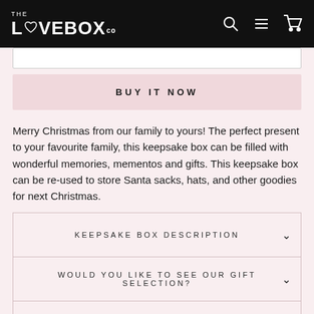THE LOVEBOX CO
BUY IT NOW
Merry Christmas from our family to yours! The perfect present to your favourite family, this keepsake box can be filled with wonderful memories, mementos and gifts. This keepsake box can be re-used to store Santa sacks, hats, and other goodies for next Christmas.
KEEPSAKE BOX DESCRIPTION
WOULD YOU LIKE TO SEE OUR GIFT SELECTION?
FREQUENTLY ASKED QUESTIONS